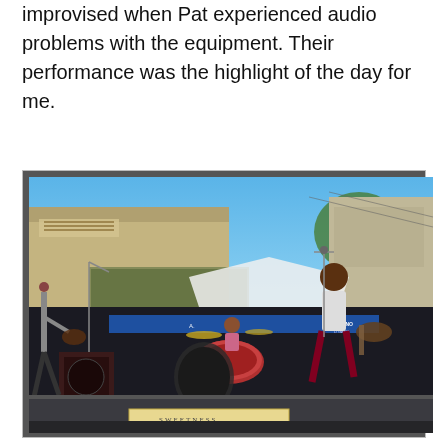improvised when Pat experienced audio problems with the equipment. Their performance was the highlight of the day for me.
[Figure (photo): Outdoor street festival band performance on a stage. Three performers visible: a guitarist on the left in grey, a female drummer in the center, and a vocalist/guitarist on the right in a white shirt. Drum kit visible in center, amplifiers on stage. Buildings and blue sky visible in background. A banner is visible on the stage front.]